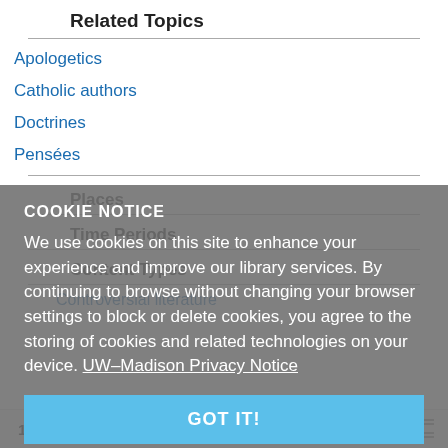Related Topics
Apologetics
Catholic authors
Doctrines
Pensées
Places
Time Periods
Content Types
Controversial literature
COOKIE NOTICE
We use cookies on this site to enhance your experience and improve our library services. By continuing to browse without changing your browser settings to block or delete cookies, you agree to the storing of cookies and related technologies on your device. UW–Madison Privacy Notice
GOT IT!
1 result sorted by